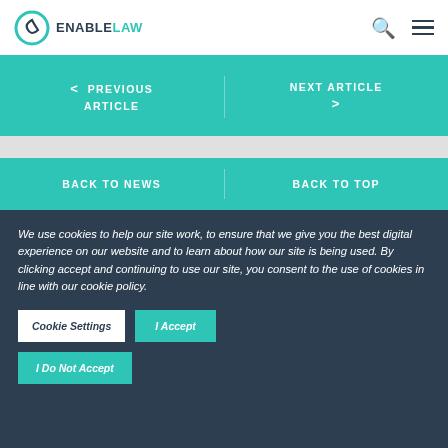ENABLE LAW
< PREVIOUS ARTICLE
NEXT ARTICLE >
BACK TO NEWS
BACK TO TOP
We use cookies to help our site work, to ensure that we give you the best digital experience on our website and to learn about how our site is being used. By clicking accept and continuing to use our site, you consent to the use of cookies in line with our cookie policy.
Cookie Settings
I Accept
I Do Not Accept